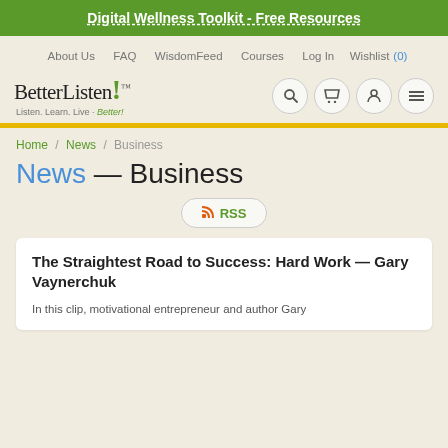Digital Wellness Toolkit - Free Resources
About Us  FAQ  WisdomFeed  Courses  Log In  Wishlist (0)
[Figure (logo): BetterListen! logo with tagline Listen. Learn. Live - Better!]
Home / News / Business
News — Business
RSS
The Straightest Road to Success: Hard Work — Gary Vaynerchuk
In this clip, motivational entrepreneur and author Gary...